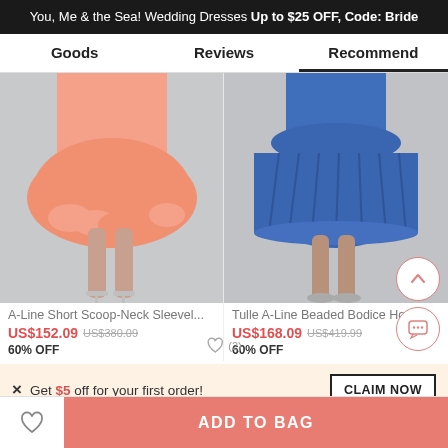You, Me & the Sea! Wedding Dresses Up to $25 OFF, Code: Bride
Goods | Reviews | Recommend
[Figure (photo): Photo of a model wearing a salmon/coral A-line short scoop-neck sleeveless dress with high heels, cropped at torso]
[Figure (photo): Photo of a model wearing a blue tulle A-line beaded bodice homecoming dress with heels, cropped at torso]
A-Line Short Scoop-Neck Sleevel...
US$152.09  US$380.09  60% OFF
Tulle A-Line Beaded Bodice Ho...
US$168.09  US$419.99  60% OFF  (2)
× Get $5 off for your first order!
CLAIM NOW
ADD TO BAG